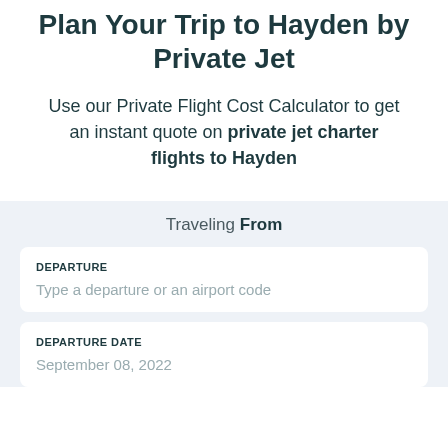Plan Your Trip to Hayden by Private Jet
Use our Private Flight Cost Calculator to get an instant quote on private jet charter flights to Hayden
Traveling From
| DEPARTURE | Type a departure or an airport code |
| DEPARTURE DATE | September 08, 2022 |